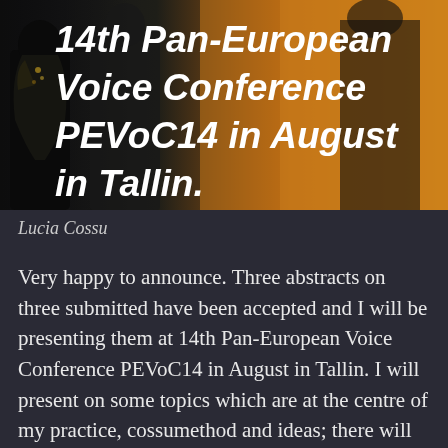[Figure (photo): Promotional image for 14th Pan-European Voice Conference PEVoC14 in August in Tallin, with bold italic white text overlaid on a dark background with orange/gold tones and silhouetted figures]
Lucia Cossu
Very happy to announce. Three abstracts on three submitted have been accepted and I will be presenting them at 14th Pan-European Voice Conference PEVoC14 in August in Tallin. I will present on some topics which are at the centre of my practice, cossumethod and ideas; there will be some of them and an hypothesis on some biomechanics of our instrument. Very excited and pleased, also happy to go and to